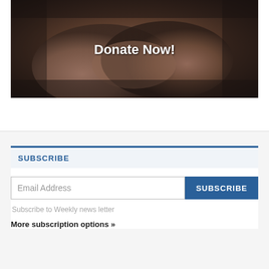[Figure (photo): Two people shaking hands in a dark-toned photograph with 'Donate Now!' text overlay in white bold font]
SUBSCRIBE
Email Address
SUBSCRIBE
Subscribe to Weekly news letter
More subscription options »